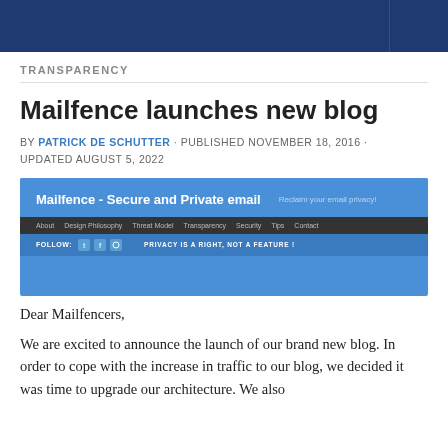TRANSPARENCY
Mailfence launches new blog
BY PATRICK DE SCHUTTER · PUBLISHED NOVEMBER 18, 2016 · UPDATED AUGUST 5, 2022
[Figure (screenshot): Screenshot of the Mailfence blog website showing the header with 'Mailfence - Secure and Private email', navigation bar with About, Design Philosophy, Threat Model, Transparency, Security, Tips, Contact links, and a follow bar with social icons and 'PRIVACY IS A RIGHT, NOT A FEATURE!' text.]
Dear Mailfencers,
We are excited to announce the launch of our brand new blog. In order to cope with the increase in traffic to our blog, we decided it was time to upgrade our architecture. We also